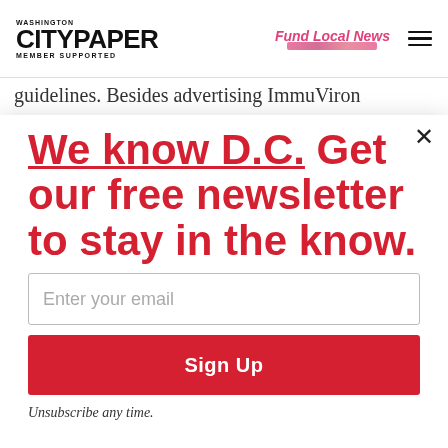Washington City Paper — Member Supported | Fund Local News
guidelines. Besides advertising ImmuViron
We know D.C. Get our free newsletter to stay in the know.
Enter your email
Sign Up
Unsubscribe any time.